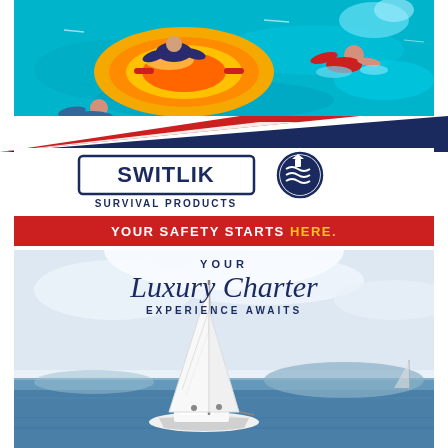[Figure (photo): Aerial view of people in water with a yellow and orange inflatable life raft, one person swimming in blue water]
[Figure (logo): SWITLIK Survival Products logo with circular emblem featuring wave design]
YOUR SAFETY STARTS HERE.
[Figure (photo): Luxury sailboat on calm blue water with mountains in the background under a cloudy sky, with text overlay: YOUR Luxury Charter EXPERIENCE AWAITS]